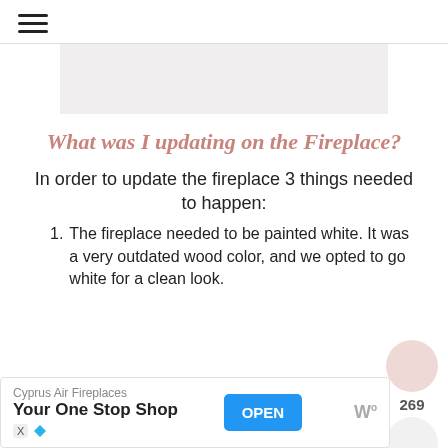≡ (hamburger menu)
[Figure (other): Light pinkish-gray rectangular image placeholder]
What was I updating on the Fireplace?
In order to update the fireplace 3 things needed to happen:
The fireplace needed to be painted white. It was a very outdated wood color, and we opted to go white for a clean look.
Cyprus Air Fireplaces
Your One Stop Shop
OPEN